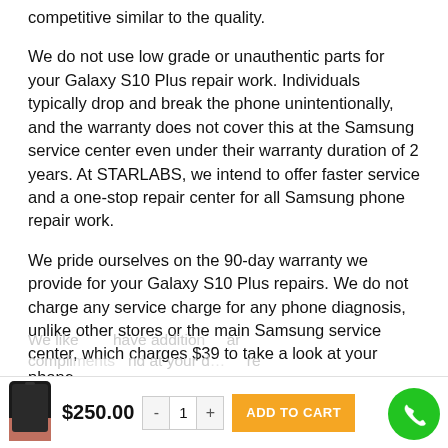competitive similar to the quality.
We do not use low grade or unauthentic parts for your Galaxy S10 Plus repair work. Individuals typically drop and break the phone unintentionally, and the warranty does not cover this at the Samsung service center even under their warranty duration of 2 years. At STARLABS, we intend to offer faster service and a one-stop repair center for all Samsung phone repair work.
We pride ourselves on the 90-day warranty we provide for your Galaxy S10 Plus repairs. We do not charge any service charge for any phone diagnosis, unlike other stores or the main Samsung service center, which charges $39 to take a look at your phone.
We like [to] have addition[al] [details] [and] compl[iments] [a]nd at your d[isposal] [re…]